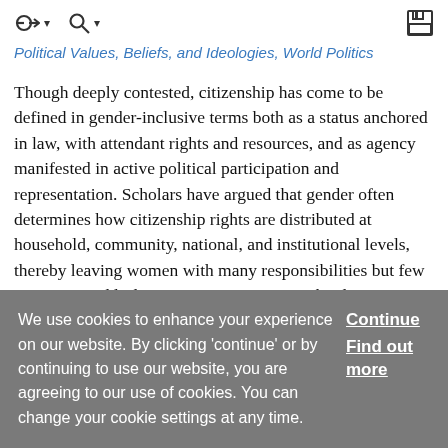⊕ ▾   🔍 ▾   💾
Political Values, Beliefs, and Ideologies, World Politics
Though deeply contested, citizenship has come to be defined in gender-inclusive terms both as a status anchored in law, with attendant rights and resources, and as agency manifested in active political participation and representation. Scholars have argued that gender often determines how citizenship rights are distributed at household, community, national, and institutional levels, thereby leaving women with many responsibilities but few resources and little representation. Citizenship laws in different parts of Africa explicitly discriminate based on
We use cookies to enhance your experience on our website. By clicking 'continue' or by continuing to use our website, you are agreeing to our use of cookies. You can change your cookie settings at any time.
Continue
Find out more